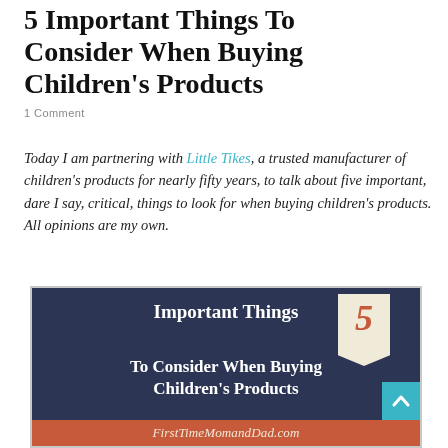5 Important Things To Consider When Buying Children's Products
1 Comment
Today I am partnering with Little Tikes, a trusted manufacturer of children's products for nearly fifty years, to talk about five important, dare I say, critical, things to look for when buying children's products. All opinions are my own.
[Figure (infographic): Infographic with dark navy background showing '5 Important Things To Consider When Buying Children's Products' with a banner number 5, and a footer reading 'FirstTimeMomandDad.com']